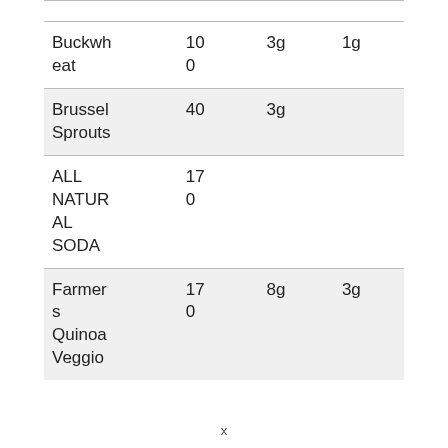| Buckwheat | 100 | 3g | 1g |
| Brussel Sprouts | 40 | 3g |  |
| ALL NATURAL SODA | 170 |  |  |
| Farmers Quinoa Veggie | 170 | 8g | 3g |
x